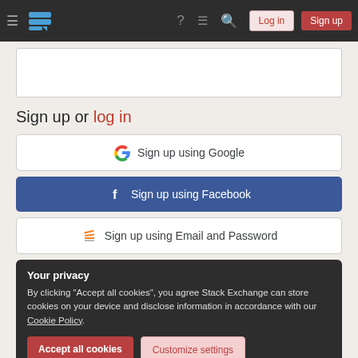[Figure (screenshot): Stack Exchange navigation bar with hamburger menu, logo, icons, Log in and Sign up buttons]
[Figure (other): Empty white input/text field area]
Sign up or log in
[Figure (other): Sign up using Google button]
[Figure (other): Sign up using Facebook button]
[Figure (other): Sign up using Email and Password button]
Your privacy
By clicking "Accept all cookies", you agree Stack Exchange can store cookies on your device and disclose information in accordance with our Cookie Policy.
[Figure (other): Accept all cookies and Customize settings buttons]
Required, but never shown